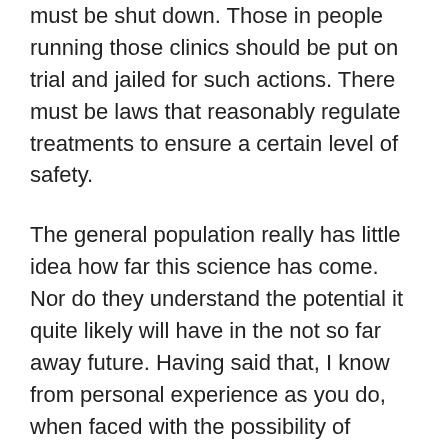must be shut down. Those in people running those clinics should be put on trial and jailed for such actions. There must be laws that reasonably regulate treatments to ensure a certain level of safety.
The general population really has little idea how far this science has come. Nor do they understand the potential it quite likely will have in the not so far away future. Having said that, I know from personal experience as you do, when faced with the possibility of having a life threatening disease, you will do anything in your power and take any risk to avoid the consequences of that disease.There must be balance between safety and risk. Both are necessary. Lawmakers have to take seriously the fact that people will go so far as break a law if not doing so means their own death. Those lawmakers must remember they serve the public. I don't believe the majority public would argue against a treatment that